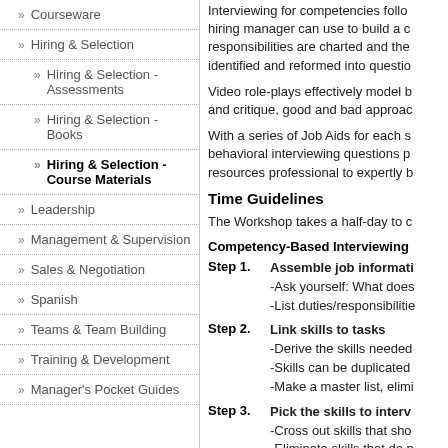» Courseware
» Hiring & Selection
» Hiring & Selection - Assessments
» Hiring & Selection - Books
» Hiring & Selection - Course Materials
» Leadership
» Management & Supervision
» Sales & Negotiation
» Spanish
» Teams & Team Building
» Training & Development
» Manager's Pocket Guides
Interviewing for competencies follo... hiring manager can use to build a c... responsibilities are charted and the... identified and reformed into questio...
Video role-plays effectively model b... and critique, good and bad approac...
With a series of Job Aids for each s... behavioral interviewing questions p... resources professional to expertly b...
Time Guidelines
The Workshop takes a half-day to c...
Competency-Based Interviewing...
Step 1. Assemble job informati... -Ask yourself: What does... -List duties/responsibilitie...
Step 2. Link skills to tasks -Derive the skills needed... -Skills can be duplicated... -Make a master list, elimi...
Step 3. Pick the skills to interv... -Cross out skills that sho... -Eliminate skills that do n... performance -Highlight questions you...